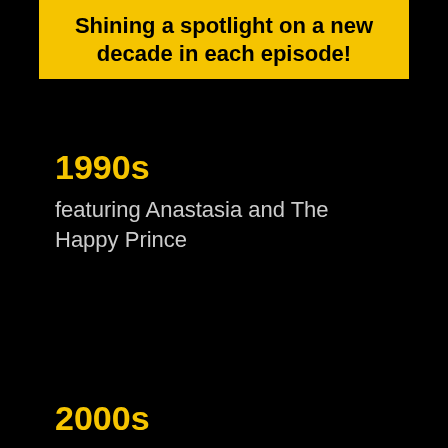Shining a spotlight on a new decade in each episode!
1990s
featuring Anastasia and The Happy Prince
2000s